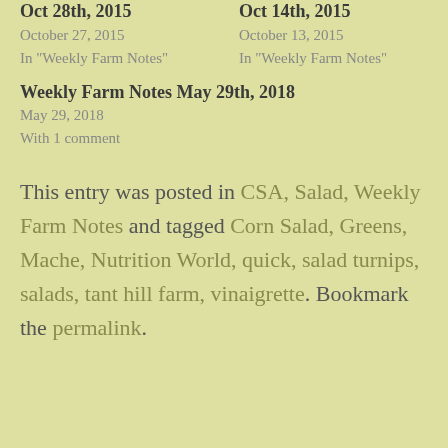Oct 28th, 2015
October 27, 2015
In "Weekly Farm Notes"
Oct 14th, 2015
October 13, 2015
In "Weekly Farm Notes"
Weekly Farm Notes May 29th, 2018
May 29, 2018
With 1 comment
This entry was posted in CSA, Salad, Weekly Farm Notes and tagged Corn Salad, Greens, Mache, Nutrition World, quick, salad turnips, salads, tant hill farm, vinaigrette. Bookmark the permalink.